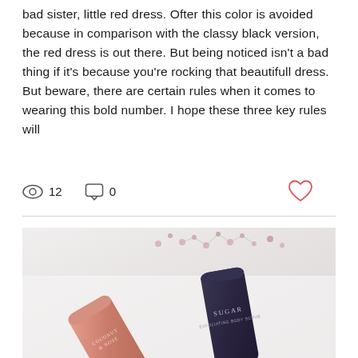bad sister, little red dress. Ofter this color is avoided because in comparison with the classy black version, the red dress is out there. But being noticed isn't a bad thing if it's because you're rocking that beautifull dress. But beware, there are certain rules when it comes to wearing this bold number. I hope these three key rules will
[Figure (infographic): Social media post interaction icons: eye icon with count 12, comment bubble icon with count 0, and a heart icon on the right]
[Figure (photo): Flatlay photo of two beauty product tubes on a white fluffy surface with pink flowers in the background. One tube is pink/salmon colored labeled 'COCONUT & ROSE', the other is dark navy labeled 'SUGAR EXFOLIATING BODY SCRUB'.]